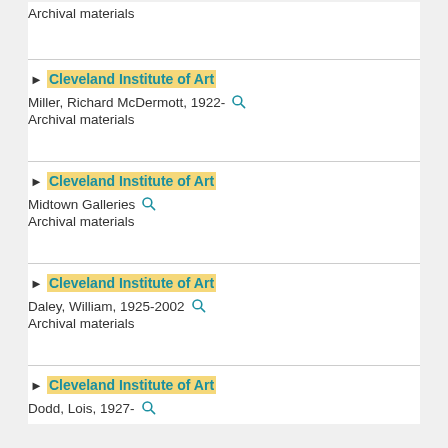Archival materials
Cleveland Institute of Art | Miller, Richard McDermott, 1922- | Archival materials
Cleveland Institute of Art | Midtown Galleries | Archival materials
Cleveland Institute of Art | Daley, William, 1925-2002 | Archival materials
Cleveland Institute of Art | Dodd, Lois, 1927-